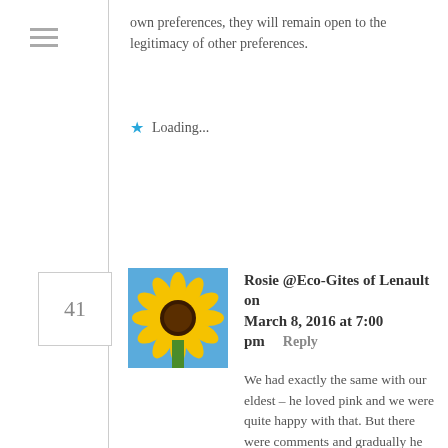own preferences, they will remain open to the legitimacy of other preferences.
Loading...
41
[Figure (photo): Sunflower photo used as commenter avatar]
Rosie @Eco-Gites of Lenault on March 8, 2016 at 7:00 pm   Reply
We had exactly the same with our eldest – he loved pink and we were quite happy with that. But there were comments and gradually he shifted to orange. I don't know if it was because of the comments or because he believed that pink was only for girls … which it shouldn't be. When we moved to France we were please to see how many boys of all ages are happy to wear pink … but sadly the toy aisle is still Blue v Pink. pocolo